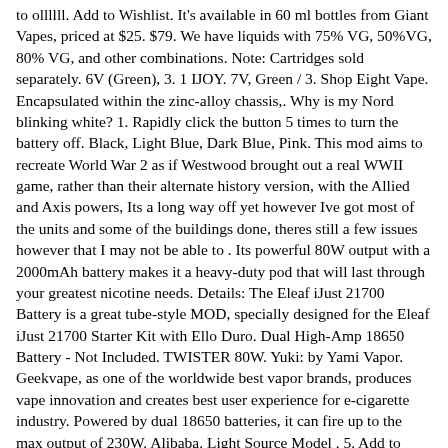to ollllll. Add to Wishlist. It's available in 60 ml bottles from Giant Vapes, priced at $25. $79. We have liquids with 75% VG, 50%VG, 80% VG, and other combinations. Note: Cartridges sold separately. 6V (Green), 3. 1 IJOY. 7V, Green / 3. Shop Eight Vape. Encapsulated within the zinc-alloy chassis,. Why is my Nord blinking white? 1. Rapidly click the button 5 times to turn the battery off. Black, Light Blue, Dark Blue, Pink. This mod aims to recreate World War 2 as if Westwood brought out a real WWII game, rather than their alternate history version, with the Allied and Axis powers, Its a long way off yet however Ive got most of the units and some of the buildings done, theres still a few issues however that I may not be able to . Its powerful 80W output with a 2000mAh battery makes it a heavy-duty pod that will last through your greatest nicotine needs. Details: The Eleaf iJust 21700 Battery is a great tube-style MOD, specially designed for the Eleaf iJust 21700 Starter Kit with Ello Duro. Dual High-Amp 18650 Battery - Not Included. TWISTER 80W. Yuki: by Yami Vapor. Geekvape, as one of the worldwide best vapor brands, produces vape innovation and creates best user experience for e-cigarette industry. Powered by dual 18650 batteries, it can fire up to the max output of 230W. Alibaba. Light Source Model . 5. Add to trolley. Nord is a newly-designed button-triggered pod system device. 800mAh Internal Rechargeable Battery. 2V. Find vape mod for sale on bidorbuy. At less than 2" high and 1" wide, it is the smallest vape on the market and fits in the palm of your hand! It has a removable front end so the Mini Tank vapes can fit most cartridges on the market.